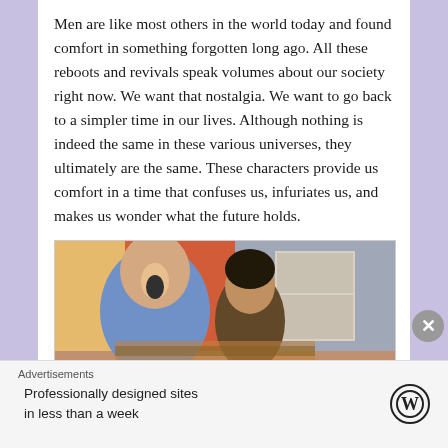Men are like most others in the world today and found comfort in something forgotten long ago. All these reboots and revivals speak volumes about our society right now. We want that nostalgia. We want to go back to a simpler time in our lives. Although nothing is indeed the same in these various universes, they ultimately are the same. These characters provide us comfort in a time that confuses us, infuriates us, and makes us wonder what the future holds.
[Figure (photo): Two people sitting on a couch, one with mouth open as if yawning or surprised, wearing a blue hoodie, the other person partially visible beside them. Colorful background with furniture visible.]
Advertisements
Professionally designed sites in less than a week